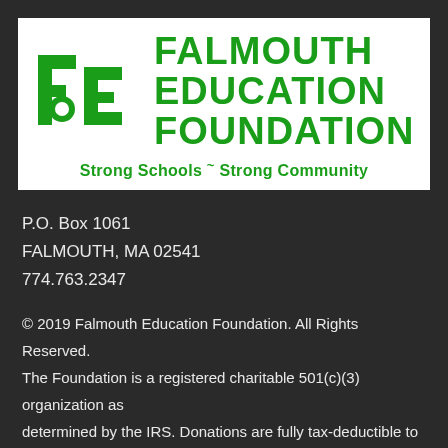[Figure (logo): Falmouth Education Foundation logo with green 'fef' letters and green text reading FALMOUTH EDUCATION FOUNDATION, tagline: Strong Schools ~ Strong Community]
P.O. Box 1061
FALMOUTH, MA 02541
774.763.2347
© 2019 Falmouth Education Foundation. All Rights Reserved.
The Foundation is a registered charitable 501(c)(3) organization as determined by the IRS. Donations are fully tax-deductible to the extent of the law.